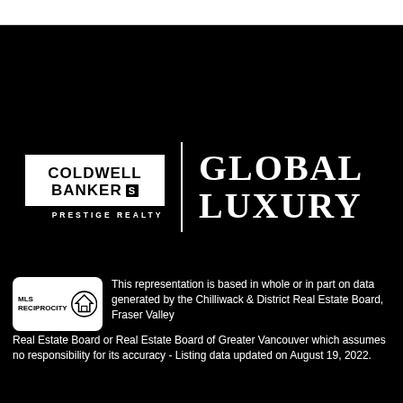[Figure (logo): Coldwell Banker Prestige Realty Global Luxury logo on black background]
[Figure (logo): MLS Reciprocity logo badge]
This representation is based in whole or in part on data generated by the Chilliwack & District Real Estate Board, Fraser Valley Real Estate Board or Real Estate Board of Greater Vancouver which assumes no responsibility for its accuracy - Listing data updated on August 19, 2022.